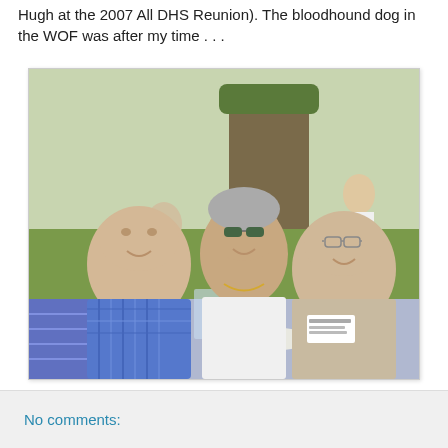Hugh at the 2007 All DHS Reunion). The bloodhound dog in the WOF was after my time . . .
[Figure (photo): Outdoor photo of three elderly people sitting at a table at what appears to be a reunion picnic. On the left is a large man in a blue plaid shirt, in the center is a woman with short gray hair wearing sunglasses and a white t-shirt with a necklace, on the right is a man in a beige/khaki polo shirt with a name tag. There are drinks on the table including a green bottle and a silver can. In the background are trees and other people standing.]
No comments: